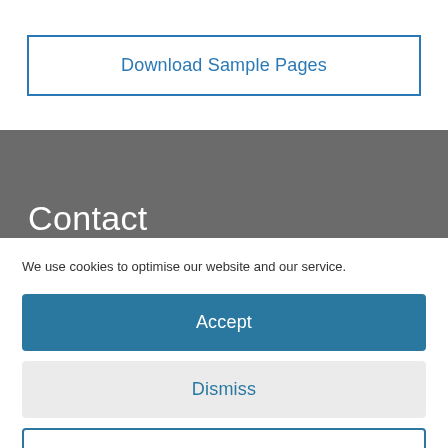Download Sample Pages
Contact
We use cookies to optimise our website and our service.
Accept
Dismiss
Preferences